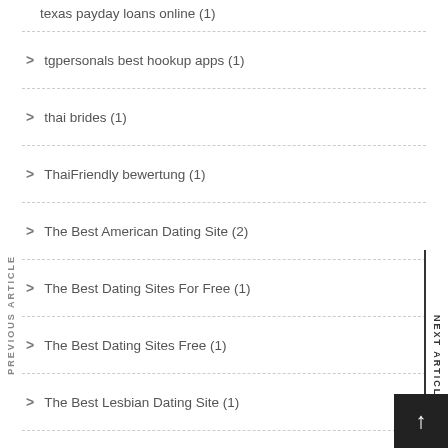texas payday loans online (1)
tgpersonals best hookup apps (1)
thai brides (1)
ThaiFriendly bewertung (1)
The Best American Dating Site (2)
The Best Dating Sites For Free (1)
The Best Dating Sites Free (1)
The Best Lesbian Dating Site (1)
The Best Payday Loans (1)